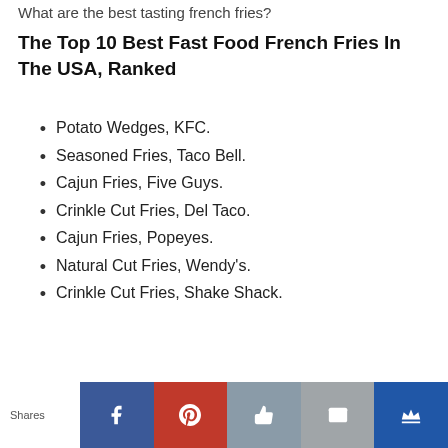What are the best tasting french fries?
The Top 10 Best Fast Food French Fries In The USA, Ranked
Potato Wedges, KFC.
Seasoned Fries, Taco Bell.
Cajun Fries, Five Guys.
Crinkle Cut Fries, Del Taco.
Cajun Fries, Popeyes.
Natural Cut Fries, Wendy's.
Crinkle Cut Fries, Shake Shack.
Shares | Facebook | Pinterest | Like | Mail | Crown